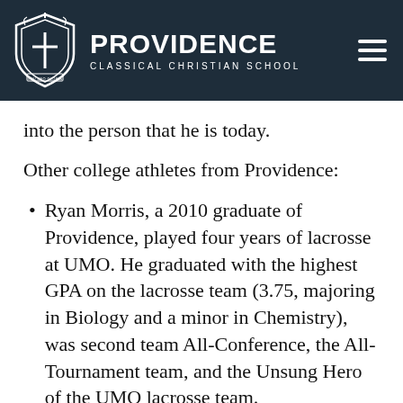[Figure (logo): Providence Classical Christian School logo — dark navy header with shield/cross emblem, school name in bold white uppercase, subtitle 'CLASSICAL CHRISTIAN SCHOOL', and hamburger menu icon on the right]
into the person that he is today.
Other college athletes from Providence:
Ryan Morris, a 2010 graduate of Providence, played four years of lacrosse at UMO. He graduated with the highest GPA on the lacrosse team (3.75, majoring in Biology and a minor in Chemistry), was second team All-Conference, the All-Tournament team, and the Unsung Hero of the UMO lacrosse team.
Bryce Hummel, a 2012 graduate of